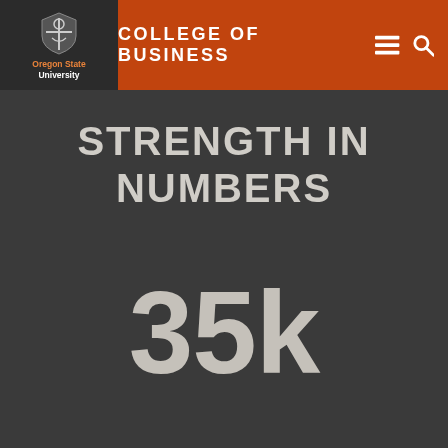COLLEGE OF BUSINESS
[Figure (logo): Oregon State University shield logo with text]
STRENGTH IN NUMBERS
35k